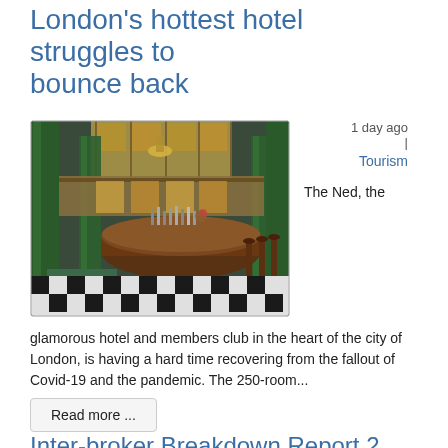London's hottest hotel struggles to bounce back
[Figure (photo): Interior of The Ned hotel - a glamorous bar area with green marble columns, checkered black and white floor, circular bar with stools, vintage patterned sofas, high ceilings with large windows]
1 day ago | Tourism The Ned, the
glamorous hotel and members club in the heart of the city of London, is having a hard time recovering from the fallout of Covid-19 and the pandemic. The 250-room...
Read more ...
Inter-broker Breakdown Report 2...